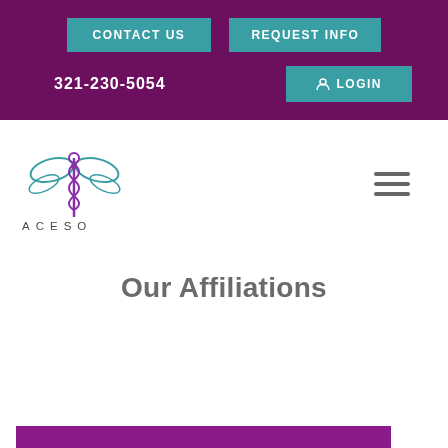CONTACT US | REQUEST INFO | 321-230-5054 | LOGIN
[Figure (logo): ACESO logo with dragonfly/caduceus symbol above text ACESO in spaced letters]
Our Affiliations